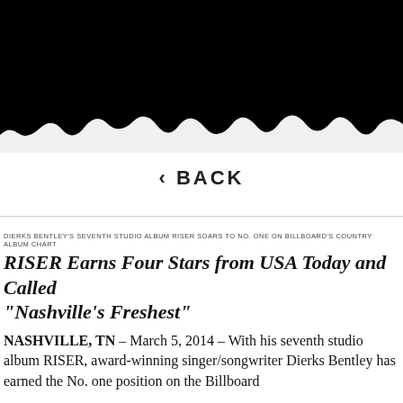[Figure (illustration): Black banner occupying the top portion of the page with a torn/rough bottom edge transitioning to white background]
< BACK
DIERKS BENTLEY'S SEVENTH STUDIO ALBUM RISER SOARS TO NO. ONE ON BILLBOARD'S COUNTRY ALBUM CHART
RISER Earns Four Stars from USA Today and Called “Nashville’s Freshest”
NASHVILLE, TN – March 5, 2014 – With his seventh studio album RISER, award-winning singer/songwriter Dierks Bentley has earned the No. one position on the Billboard